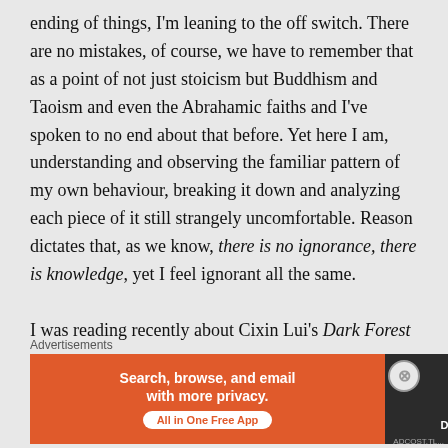ending of things, I'm leaning to the off switch. There are no mistakes, of course, we have to remember that as a point of not just stoicism but Buddhism and Taoism and even the Abrahamic faiths and I've spoken to no end about that before. Yet here I am, understanding and observing the familiar pattern of my own behaviour, breaking it down and analyzing each piece of it still strangely uncomfortable. Reason dictates that, as we know, there is no ignorance, there is knowledge, yet I feel ignorant all the same.

I was reading recently about Cixin Lui's Dark Forest
Advertisements
[Figure (other): DuckDuckGo advertisement banner: orange left section reading 'Search, browse, and email with more privacy. All in One Free App', dark right section with DuckDuckGo duck logo and brand name.]